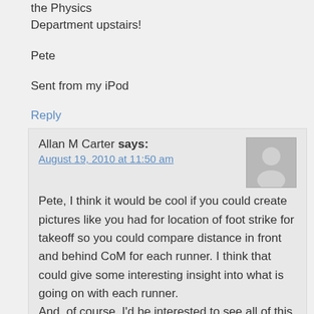the Physics Department upstairs!
Pete
Sent from my iPod
Reply
Allan M Carter says:
August 19, 2010 at 11:50 am
Pete, I think it would be cool if you could create pictures like you had for location of foot strike for takeoff so you could compare distance in front and behind CoM for each runner. I think that could give some interesting insight into what is going on with each runner.
And, of course, I'd be interested to see all of this